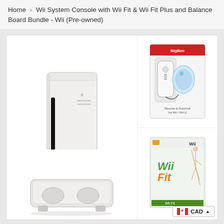Home › Wii System Console with Wii Fit & Wii Fit Plus and Balance Board Bundle - Wii (Pre-owned)
[Figure (photo): Product listing page showing Wii System Console with Wii Fit & Wii Fit Plus and Balance Board Bundle. Main image shows white Wii console standing upright. Top-right thumbnail shows a Wii remote and nunchuk controller accessory in packaging. Bottom-right thumbnail shows Wii Fit game case. Bottom-left area shows the Wii Balance Board. A CAD currency selector badge is visible in the bottom-right corner.]